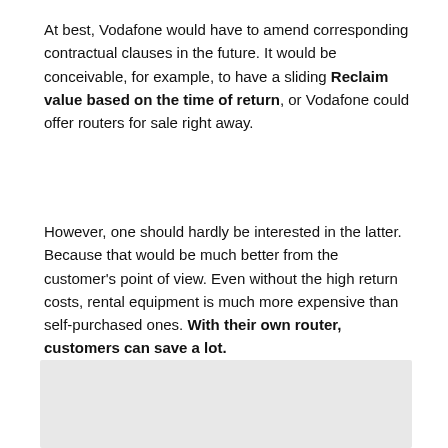At best, Vodafone would have to amend corresponding contractual clauses in the future. It would be conceivable, for example, to have a sliding Reclaim value based on the time of return, or Vodafone could offer routers for sale right away.
However, one should hardly be interested in the latter. Because that would be much better from the customer's point of view. Even without the high return costs, rental equipment is much more expensive than self-purchased ones. With their own router, customers can save a lot.
[Figure (other): Gray rectangular box, partially visible at bottom of page]